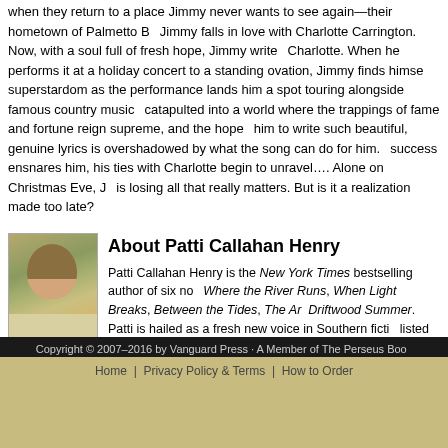when they return to a place Jimmy never wants to see again—their hometown of Palmetto... Jimmy falls in love with Charlotte Carrington. Now, with a soul full of fresh hope, Jimmy writes... Charlotte. When he performs it at a holiday concert to a standing ovation, Jimmy finds himself... superstardom as the performance lands him a spot touring alongside famous country music... catapulted into a world where the trappings of fame and fortune reign supreme, and the hope... him to write such beautiful, genuine lyrics is overshadowed by what the song can do for him... success ensnares him, his ties with Charlotte begin to unravel…. Alone on Christmas Eve, J... is losing all that really matters. But is it a realization made too late?
[Figure (photo): Author photo of Patti Callahan Henry]
About Patti Callahan Henry
Patti Callahan Henry is the New York Times bestselling author of six novels, including Where the River Runs, When Light Breaks, Between the Tides, The Art of Keeping Secrets, and Driftwood Summer. Patti is hailed as a fresh new voice in Southern fiction and has been short-listed for the Townsend Prize for Fiction and has been nominated for the Southern Independent Booksellers Fiction Novel of the Year. She is a frequent speaker at book clubs, and women's groups, where she discusses the importance of storytelling. She lives with her husband and three children outside Atlanta on the Chattahoochee River.
Related Subjects
Fiction
Women's Fiction
Copyright © 2007–2016 by Vanguard Press · A Member of The Perseus Books Group
Home | Privacy Policy & Terms | How to Order